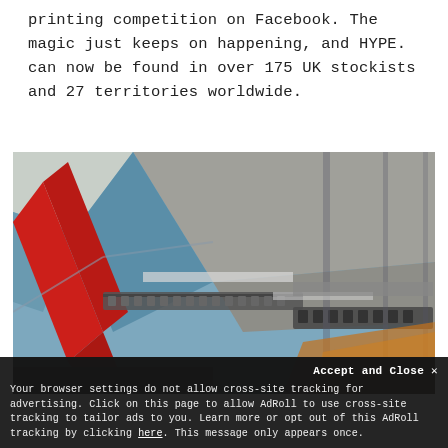printing competition on Facebook. The magic just keeps on happening, and HYPE. can now be found in over 175 UK stockists and 27 territories worldwide.
[Figure (photo): Interior architectural photo looking upward at an industrial or modern building ceiling with red structural beams/pipes, grey acoustic panels, metal cable trays, and glass roof panels with warm orange light visible in the lower right corner.]
Accept and Close ×
Your browser settings do not allow cross-site tracking for advertising. Click on this page to allow AdRoll to use cross-site tracking to tailor ads to you. Learn more or opt out of this AdRoll tracking by clicking here. This message only appears once.